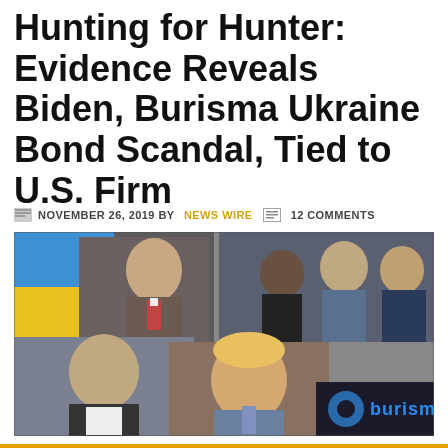Hunting for Hunter: Evidence Reveals Biden, Burisma Ukraine Bond Scandal, Tied to U.S. Firm
NOVEMBER 26, 2019 BY NEWS WIRE  12 COMMENTS
[Figure (photo): Composite photo showing multiple political figures: top-left shows a man in front of a Ukrainian flag (yellow and blue), top-right shows Obama, Biden, and Hunter Biden at what appears to a sporting event, bottom-center shows Zelensky and Trump side by side, bottom-right corner shows the Burisma company logo (black and blue) with the word 'burisma' in blue text.]